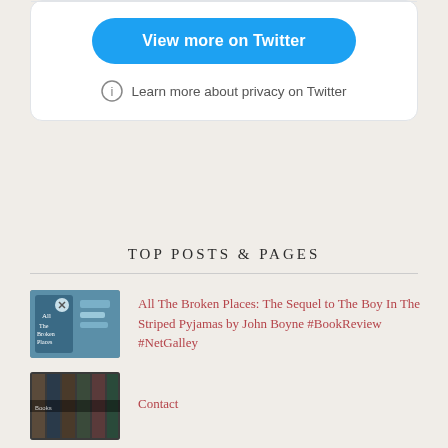[Figure (screenshot): Twitter embed card with 'View more on Twitter' button and privacy notice]
TOP POSTS & PAGES
All The Broken Places: The Sequel to The Boy In The Striped Pyjamas by John Boyne #BookReview #NetGalley
Contact
Review policy